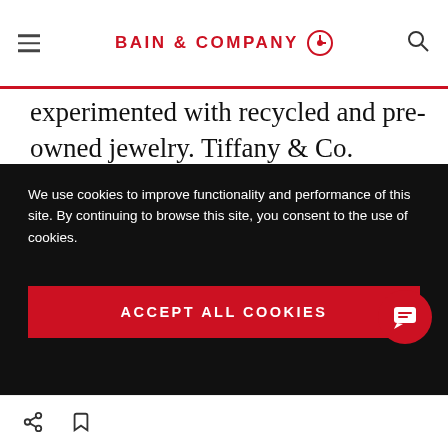BAIN & COMPANY
experimented with recycled and pre-owned jewelry. Tiffany & Co. launched a new product line made from recycled gold, and Signet released a collection of reclaimed gold and repurposed diamonds. Top retailers also adopted pre-owned jewelry sales through new lines and acquisitions. Blue Nile relaunched
We use cookies to improve functionality and performance of this site. By continuing to browse this site, you consent to the use of cookies.
ACCEPT ALL COOKIES